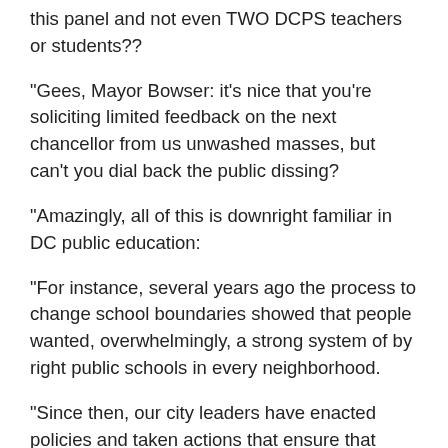this panel and not even TWO DCPS teachers or students??
“Gees, Mayor Bowser: it’s nice that you’re soliciting limited feedback on the next chancellor from us unwashed masses, but can’t you dial back the public dissing?
“Amazingly, all of this is downright familiar in DC public education:
“For instance, several years ago the process to change school boundaries showed that people wanted, overwhelmingly, a strong system of by right public schools in every neighborhood.
“Since then, our city leaders have enacted policies and taken actions that ensure that remains a pipe dream:
“–Thousands of new seats have been created in the